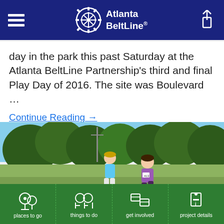Atlanta BeltLine
day in the park this past Saturday at the Atlanta BeltLine Partnership's third and final Play Day of 2016. The site was Boulevard …
Continue Reading →
[Figure (photo): Two young girls running and playing in a grassy park field with trees in the background. One girl wears a blue shirt and white pants; the other wears a purple shirt and dark shorts with race bib number 413.]
places to go | things to do | get involved | project details